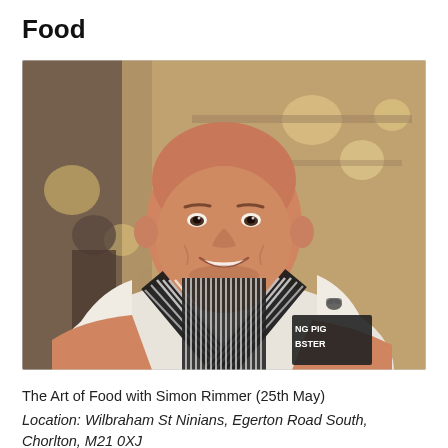Food
[Figure (photo): A bald man wearing a white t-shirt and a black and white striped apron with 'NG PIG BSTER' visible on the apron, smiling at camera in a restaurant setting with blurred background]
The Art of Food with Simon Rimmer (25th May)
Location: Wilbraham St Ninians, Egerton Road South, Chorlton, M21 0XJ